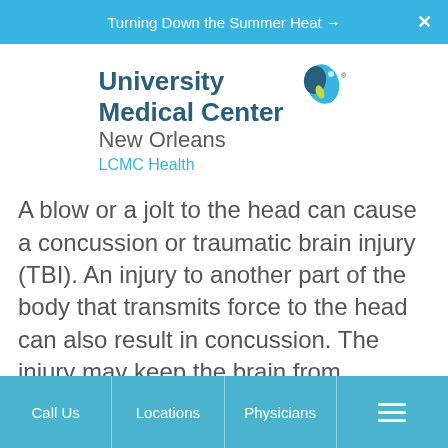Turning Down the Summer Heat →   ×
[Figure (logo): University Medical Center New Orleans LCMC Health logo with teal and dark blue heart/teardrop icon]
A blow or a jolt to the head can cause a concussion or traumatic brain injury (TBI). An injury to another part of the body that transmits force to the head can also result in concussion. The injury may keep the brain from working normally.
Call Us   Locations   Physicians   ☰